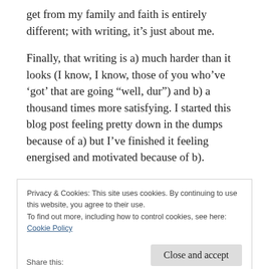get from my family and faith is entirely different; with writing, it’s just about me.
Finally, that writing is a) much harder than it looks (I know, I know, those of you who’ve ‘got’ that are going “well, dur”) and b) a thousand times more satisfying. I started this blog post feeling pretty down in the dumps because of a) but I’ve finished it feeling energised and motivated because of b).
Privacy & Cookies: This site uses cookies. By continuing to use this website, you agree to their use.
To find out more, including how to control cookies, see here:
Cookie Policy
Share this: